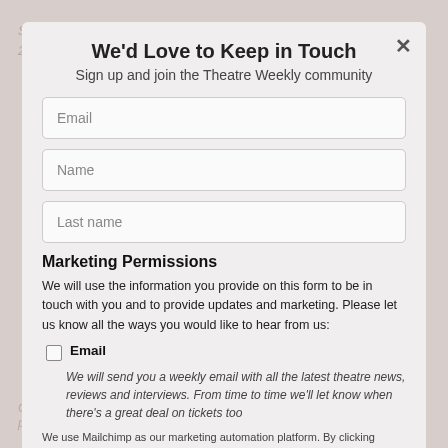Section 2 is at The Bunker Theatre 11th June – 7th July 2018.
We'd Love to Keep in Touch
Sign up and join the Theatre Weekly community
Email
Name
Last name
Marketing Permissions
We will use the information you provide on this form to be in touch with you and to provide updates and marketing. Please let us know all the ways you would like to hear from us:
Email
We will send you a weekly email with all the latest theatre news, reviews and interviews. From time to time we'll let know when there's a great deal on tickets too
We use Mailchimp as our marketing automation platform. By clicking below to submit th